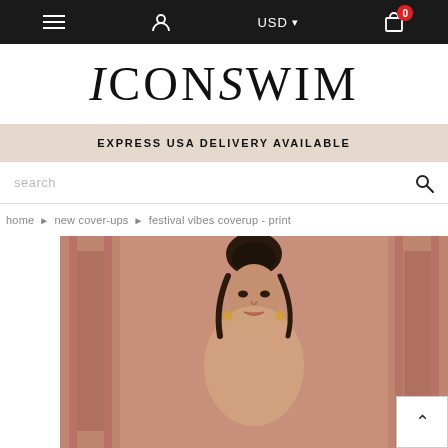≡  👤  USD ▾  🛒 0
ICONSWIM
EXPRESS USA DELIVERY AVAILABLE
search
home › new cover-ups › festival vibes coverup - print
[Figure (photo): Fashion model with dark hair in updo, wearing a cover-up garment, standing in front of terracotta/peach stucco wall with architectural column elements on each side.]